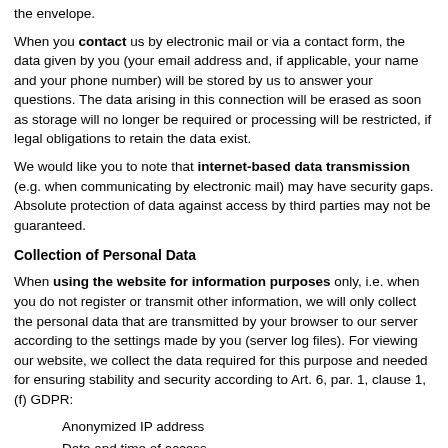the envelope.
When you contact us by electronic mail or via a contact form, the data given by you (your email address and, if applicable, your name and your phone number) will be stored by us to answer your questions. The data arising in this connection will be erased as soon as storage will no longer be required or processing will be restricted, if legal obligations to retain the data exist.
We would like you to note that internet-based data transmission (e.g. when communicating by electronic mail) may have security gaps. Absolute protection of data against access by third parties may not be guaranteed.
Collection of Personal Data
When using the website for information purposes only, i.e. when you do not register or transmit other information, we will only collect the personal data that are transmitted by your browser to our server according to the settings made by you (server log files). For viewing our website, we collect the data required for this purpose and needed for ensuring stability and security according to Art. 6, par. 1, clause 1, (f) GDPR:
Anonymized IP address
Date and time of access
Time zone difference to Greenwich Mean Time (GMT)
Content of the access (concrete site)
Status of access/HTTP status code
Data volume transmitted
Website from which an accessing system reaches our website
Browser